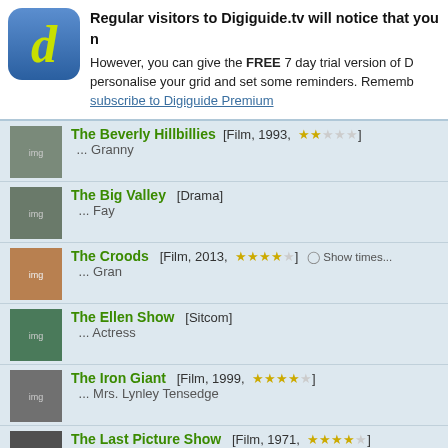Regular visitors to Digiguide.tv will notice that you n
However, you can give the FREE 7 day trial version of D personalise your grid and set some reminders. Rememb subscribe to Digiguide Premium
The Beverly Hillbillies [Film, 1993, ★★☆☆☆] ... Granny
The Big Valley [Drama] ... Fay
The Croods [Film, 2013, ★★★★☆] Show times... ... Gran
The Ellen Show [Sitcom] ... Actress
The Iron Giant [Film, 1999, ★★★★☆] ... Mrs. Lynley Tensedge
The Last Picture Show [Film, 1971, ★★★★☆] ... Ruth Popper
The Love Boat [Film, 1976, ★★☆☆☆] ... Iris Havlicek
The Mary Tyler Moore Show [Sitcom] ... Actress